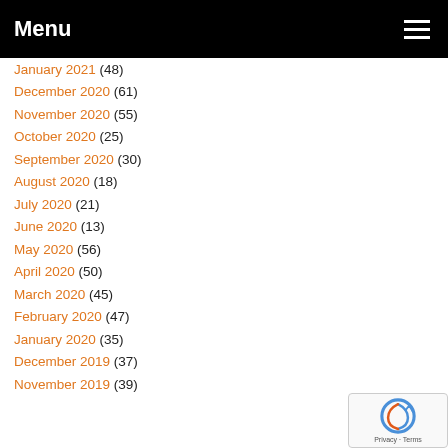Menu
January 2021 (48)
December 2020 (61)
November 2020 (55)
October 2020 (25)
September 2020 (30)
August 2020 (18)
July 2020 (21)
June 2020 (13)
May 2020 (56)
April 2020 (50)
March 2020 (45)
February 2020 (47)
January 2020 (35)
December 2019 (37)
November 2019 (39)